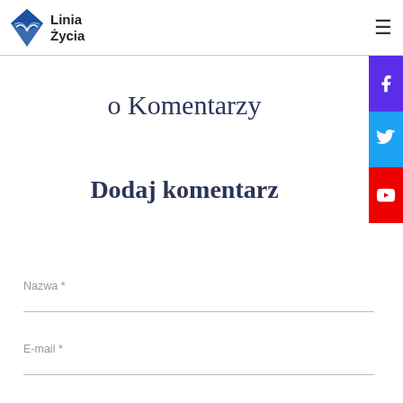Linia Życia
o Komentarzy
Dodaj komentarz
Nazwa *
E-mail *